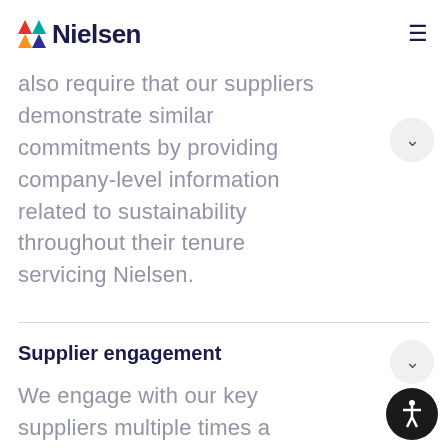Nielsen
include ESG criteria. We also require that our suppliers demonstrate similar commitments by providing company-level information related to sustainability throughout their tenure servicing Nielsen.
Supplier engagement
We engage with our key suppliers multiple times a year with a focus on ESG issues.